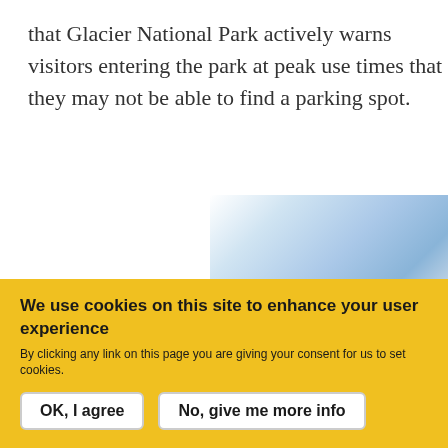that Glacier National Park actively warns visitors entering the park at peak use times that they may not be able to find a parking spot.
[Figure (photo): Partially visible photograph showing a blurred outdoor scene with blue sky and landscape, cropped on the right side of the page.]
We use cookies on this site to enhance your user experience
By clicking any link on this page you are giving your consent for us to set cookies.
OK, I agree   No, give me more info